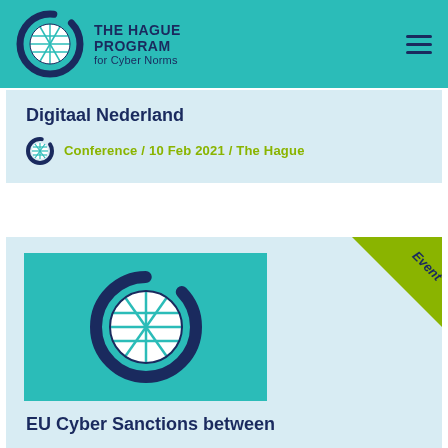THE HAGUE PROGRAM for Cyber Norms
Digitaal Nederland
Conference / 10 Feb 2021 / The Hague
[Figure (logo): The Hague Program for Cyber Norms logo — globe with grid lines encircled by a dark blue swoosh]
EU Cyber Sanctions between